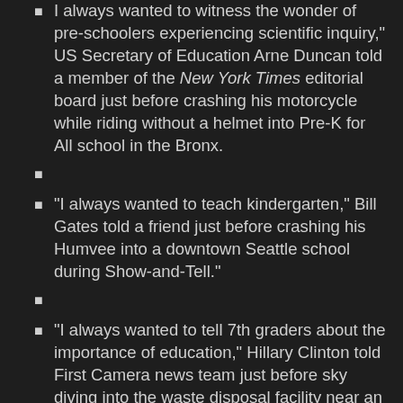I always wanted to witness the wonder of pre-schoolers experiencing scientific inquiry," US Secretary of Education Arne Duncan told a member of the New York Times editorial board just before crashing his motorcycle while riding without a helmet into Pre-K for All school in the Bronx.
"I always wanted to teach kindergarten," Bill Gates told a friend just before crashing his Humvee into a downtown Seattle school during Show-and-Tell."
"I always wanted to tell 7th graders about the importance of education," Hillary Clinton told First Camera news team just before sky diving into the waste disposal facility near an undisclosed school in Iowa.
ETS Time Share
The governing board of Educational Testing Service has announced the availability of time share options at its test development center. Share options are divided into week long increments, with units sold as